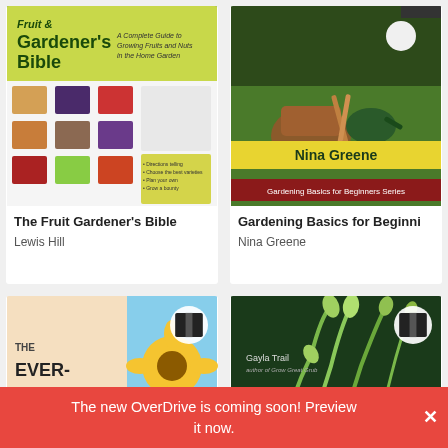[Figure (illustration): Book cover: The Fruit Gardener's Bible - green and yellow cover with fruit images]
The Fruit Gardener's Bible
Lewis Hill
[Figure (illustration): Book cover: Gardening Basics for Beginners Series by Nina Greene - gardening tools on grass]
Gardening Basics for Beginni
Nina Greene
[Figure (illustration): Book cover: The Ever-Blooming Flower Garden - sunflower on red/cream background]
[Figure (illustration): Book cover: Easy by Gayla Trail - garlic scapes on dark green background]
The new OverDrive is coming soon! Preview it now.